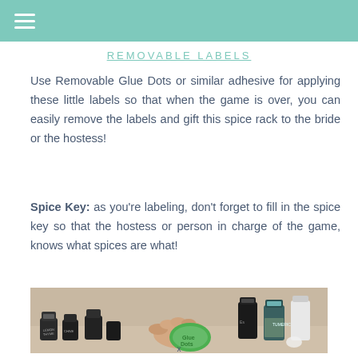≡
REMOVABLE LABELS
Use Removable Glue Dots or similar adhesive for applying these little labels so that when the game is over, you can easily remove the labels and gift this spice rack to the bride or the hostess!
Spice Key: as you're labeling, don't forget to fill in the spice key so that the hostess or person in charge of the game, knows what spices are what!
[Figure (photo): A hand using a green Glue Dots dispenser to apply removable labels to small dark spice jars on a table]
x